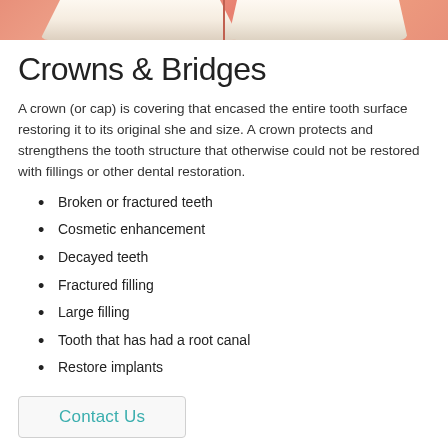[Figure (photo): Close-up photograph of teeth and gums showing dental crowns, with a vertical dividing line in the center. Pink gum tissue visible at top.]
Crowns & Bridges
A crown (or cap) is covering that encased the entire tooth surface restoring it to its original she and size. A crown protects and strengthens the tooth structure that otherwise could not be restored with fillings or other dental restoration.
Broken or fractured teeth
Cosmetic enhancement
Decayed teeth
Fractured filling
Large filling
Tooth that has had a root canal
Restore implants
Contact Us